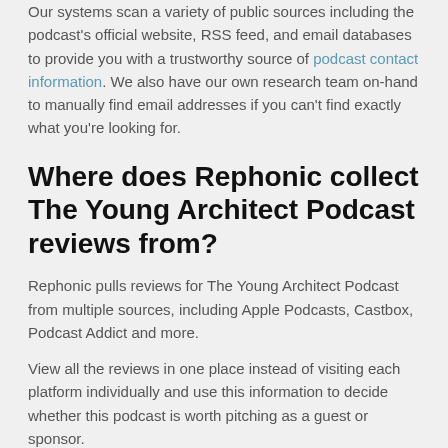Our systems scan a variety of public sources including the podcast's official website, RSS feed, and email databases to provide you with a trustworthy source of podcast contact information. We also have our own research team on-hand to manually find email addresses if you can't find exactly what you're looking for.
Where does Rephonic collect The Young Architect Podcast reviews from?
Rephonic pulls reviews for The Young Architect Podcast from multiple sources, including Apple Podcasts, Castbox, Podcast Addict and more.
View all the reviews in one place instead of visiting each platform individually and use this information to decide whether this podcast is worth pitching as a guest or sponsor.
How does Rephonic know which podcasts are like The Young Architect Podcast?